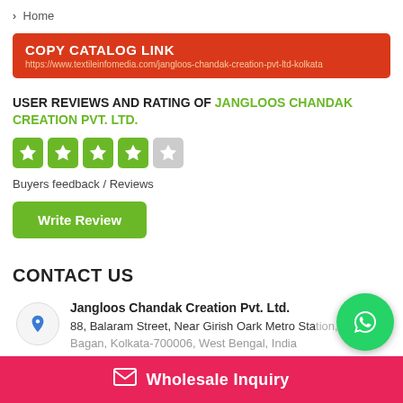> Home
COPY CATALOG LINK
https://www.textileinfomedia.com/jangloos-chandak-creation-pvt-ltd-kolkata
USER REVIEWS AND RATING OF JANGLOOS CHANDAK CREATION PVT. LTD.
[Figure (other): 4 out of 5 stars rating shown as green star boxes]
Buyers feedback / Reviews
Write Review
CONTACT US
Jangloos Chandak Creation Pvt. Ltd.
88, Balaram Street, Near Girish Oark Metro Station, Ram Bagan, Kolkata-700006, West Bengal, India
[Figure (other): WhatsApp contact button (green circle with phone icon)]
Wholesale Inquiry